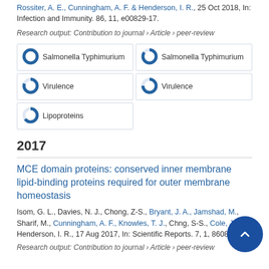Rossiter, A. E., Cunningham, A. F. & Henderson, I. R., 25 Oct 2018, In: Infection and Immunity. 86, 11, e00829-17.
Research output: Contribution to journal › Article › peer-review
[Figure (infographic): Six keyword badges arranged in a 2-column grid, each with a donut/pie percentage indicator. Row 1: 100% Salmonella Typhimurium (left), ~85% Salmonella Typhimurium (right). Row 2: ~80% Virulence (left), ~75% Virulence (right). Row 3: ~65% Lipoproteins (left only).]
2017
MCE domain proteins: conserved inner membrane lipid-binding proteins required for outer membrane homeostasis
Isom, G. L., Davies, N. J., Chong, Z-S., Bryant, J. A., Jamshad, M., Sharif, M., Cunningham, A. F., Knowles, T. J., Chng, S-S., Cole, J. A. & Henderson, I. R., 17 Aug 2017, In: Scientific Reports. 7, 1, 8608.
Research output: Contribution to journal › Article › peer-review